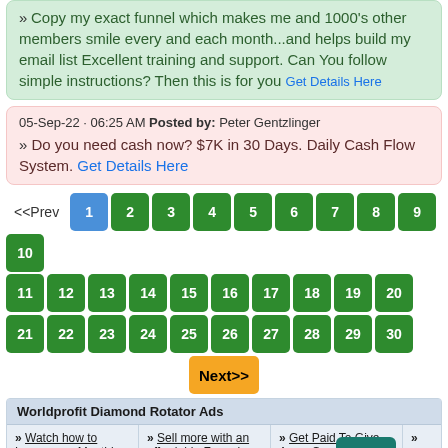» Copy my exact funnel which makes me and 1000's other members smile every and each month...and helps build my email list Excellent training and support. Can You follow simple instructions? Then this is for you Get Details Here
05-Sep-22 · 06:25 AM Posted by: Peter Gentzlinger
» Do you need cash now? $7K in 30 Days. Daily Cash Flow System. Get Details Here
Pagination: <<Prev 1 2 3 4 5 6 7 8 9 10 11 12 13 14 15 16 17 18 19 20 21 22 23 24 25 26 27 28 29 30 Next>>
Worldprofit Diamond Rotator Ads
» Watch how to Lower your Monthly Bills Risk Free & Easy!
» Sell more with an affordable Funnel and Website Builder
» Get Paid To Give Away Gas And Groceries